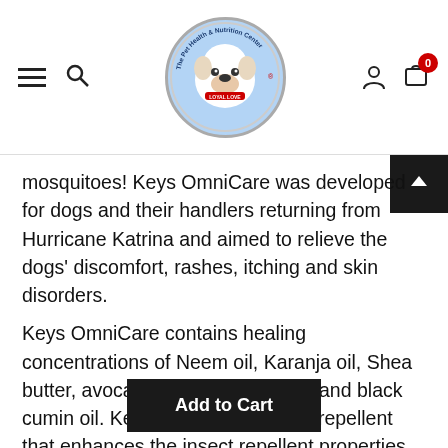The Pet Health & Nutrition Center – navigation bar with logo, hamburger menu, search, account, and cart icons
mosquitoes! Keys OmniCare was developed for dogs and their handlers returning from Hurricane Katrina and aimed to relieve the dogs' discomfort, rashes, itching and skin disorders.
Keys OmniCare contains healing concentrations of Neem oil, Karanja oil, Shea butter, avocado oil, carrot seed oil and black cumin oil. Keys contains a natural repellent that enhances the insect repellent properties of the Neem and Karanja.
Add to Cart